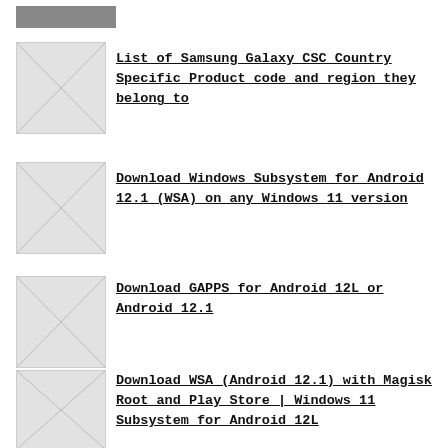[Figure (screenshot): Dark gray horizontal bar image at top left]
[Figure (screenshot): Thumbnail image placeholder for Samsung Galaxy CSC Country Specific article]
List of Samsung Galaxy CSC Country Specific Product code and region they belong to
[Figure (screenshot): Thumbnail image placeholder for Download Windows Subsystem for Android 12.1 article]
Download Windows Subsystem for Android 12.1 (WSA) on any Windows 11 version
[Figure (screenshot): Thumbnail image placeholder for Download GAPPS for Android 12L article]
Download GAPPS for Android 12L or Android 12.1
[Figure (screenshot): Thumbnail image placeholder for Download WSA Android 12.1 with Magisk Root article]
Download WSA (Android 12.1) with Magisk Root and Play Store | Windows 11 Subsystem for Android 12L